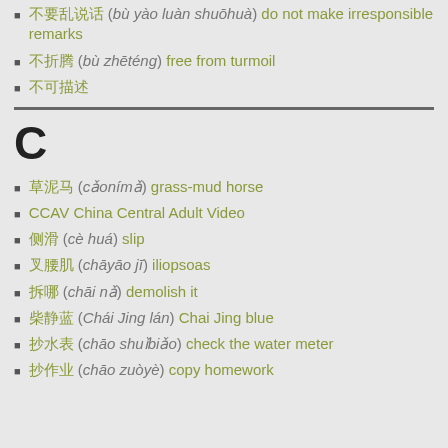不要乱说话 (bù yào luàn shuōhuà) do not make irresponsible remarks
不折腾 (bù zhēténg) free from turmoil
不可描述
C
草泥马 (cǎonímǎ) grass-mud horse
CCAV China Central Adult Video
侧滑 (cè huá) slip
叉腰肌 (chāyāo jī) iliopsoas
拆哪 (chāi nǎ) demolish it
柴静蓝 (Chái Jing lán) Chai Jing blue
抄水表 (chāo shuǐbiǎo) check the water meter
抄作业 (chāo zuòyè) copy homework